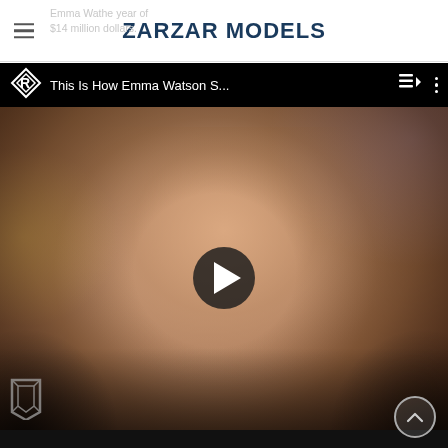ZARZAR MODELS
Emma Wa... the year of $14 million dollars.
[Figure (screenshot): YouTube-style video embed showing a video titled 'This Is How Emma Watson S...' with a play button overlay. The thumbnail shows a young woman with wavy brown hair. The video player interface includes a logo, title bar, playlist and menu icons.]